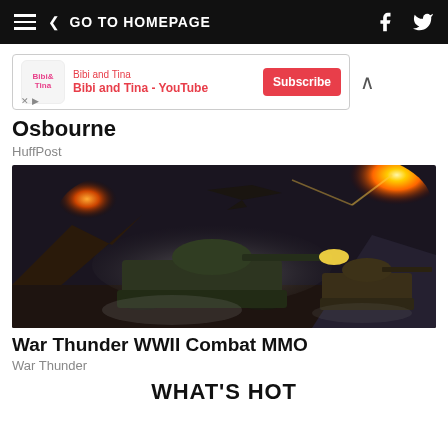GO TO HOMEPAGE
[Figure (screenshot): Advertisement banner for Bibi and Tina YouTube channel with Subscribe button]
Osbourne
HuffPost
[Figure (photo): War Thunder WWII Combat MMO game artwork showing tanks in battle with explosions and aircraft]
War Thunder WWII Combat MMO
War Thunder
WHAT'S HOT